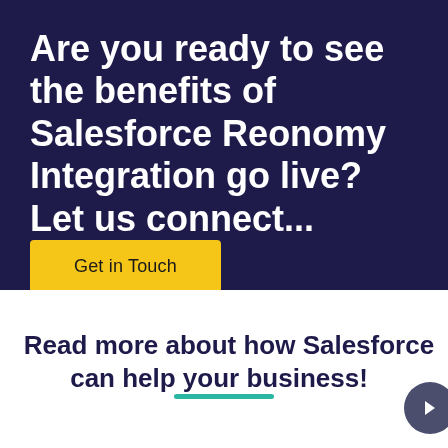Are you ready to see the benefits of Salesforce Reonomy Integration go live? Let us connect...
Get in Touch
Read more about how Salesforce can help your business!